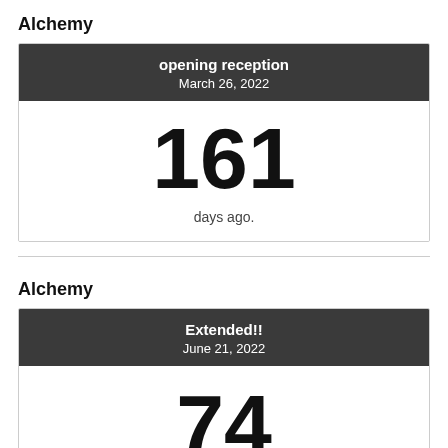Alchemy
| opening reception | March 26, 2022 |
| --- | --- |
| 161 | days ago. |
Alchemy
| Extended!! | June 21, 2022 |
| --- | --- |
| 74 |  |